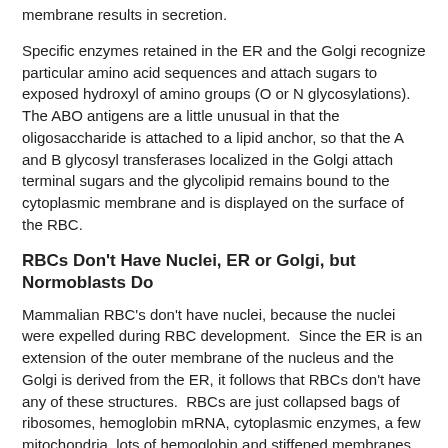membrane results in secretion.
Specific enzymes retained in the ER and the Golgi recognize particular amino acid sequences and attach sugars to exposed hydroxyl of amino groups (O or N glycosylations). The ABO antigens are a little unusual in that the oligosaccharide is attached to a lipid anchor, so that the A and B glycosyl transferases localized in the Golgi attach terminal sugars and the glycolipid remains bound to the cytoplasmic membrane and is displayed on the surface of the RBC.
RBCs Don’t Have Nuclei, ER or Golgi, but Normoblasts Do
Mammalian RBC’s don’t have nuclei, because the nuclei were expelled during RBC development.  Since the ER is an extension of the outer membrane of the nucleus and the Golgi is derived from the ER, it follows that RBCs don’t have any of these structures.  RBCs are just collapsed bags of ribosomes, hemoglobin mRNA, cytoplasmic enzymes, a few mitochondria, lots of hemoglobin and stiffened membranes